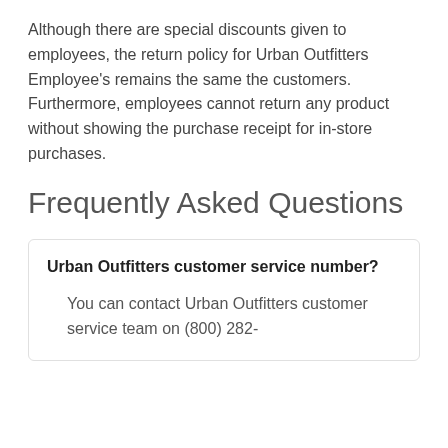Although there are special discounts given to employees, the return policy for Urban Outfitters Employee's remains the same the customers. Furthermore, employees cannot return any product without showing the purchase receipt for in-store purchases.
Frequently Asked Questions
Urban Outfitters customer service number?
You can contact Urban Outfitters customer service team on (800) 282-